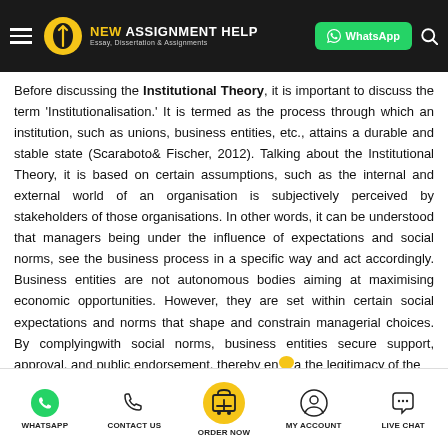NEW ASSIGNMENT HELP — Essay, Dissertation & Assignments | WhatsApp
Before discussing the Institutional Theory, it is important to discuss the term 'Institutionalisation.' It is termed as the process through which an institution, such as unions, business entities, etc., attains a durable and stable state (Scaraboto& Fischer, 2012). Talking about the Institutional Theory, it is based on certain assumptions, such as the internal and external world of an organisation is subjectively perceived by stakeholders of those organisations. In other words, it can be understood that managers being under the influence of expectations and social norms, see the business process in a specific way and act accordingly. Business entities are not autonomous bodies aiming at maximising economic opportunities. However, they are set within certain social expectations and norms that shape and constrain managerial choices. By complyingwith social norms, business entities secure support, approval, and public endorsement, thereby enhancing the legitimacy of the
WHATSAPP | CONTACT US | ORDER NOW | MY ACCOUNT | LIVE CHAT